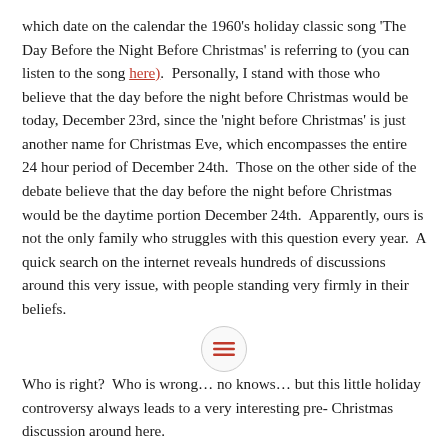which date on the calendar the 1960's holiday classic song 'The Day Before the Night Before Christmas' is referring to (you can listen to the song here).  Personally, I stand with those who believe that the day before the night before Christmas would be today, December 23rd, since the 'night before Christmas' is just another name for Christmas Eve, which encompasses the entire 24 hour period of December 24th.  Those on the other side of the debate believe that the day before the night before Christmas would be the daytime portion December 24th.  Apparently, ours is not the only family who struggles with this question every year.  A quick search on the internet reveals hundreds of discussions around this very issue, with people standing very firmly in their beliefs.
Who is right?  Who is wrong… no knows… but this little holiday controversy always leads to a very interesting pre-Christmas discussion around here.